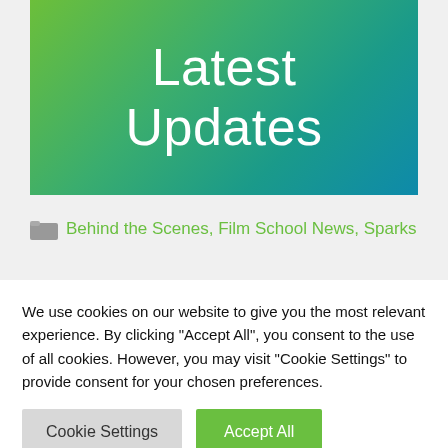[Figure (illustration): Green to teal gradient banner image with white text reading 'Latest Updates']
Behind the Scenes, Film School News, Sparks
We use cookies on our website to give you the most relevant experience. By clicking "Accept All", you consent to the use of all cookies. However, you may visit "Cookie Settings" to provide consent for your chosen preferences.